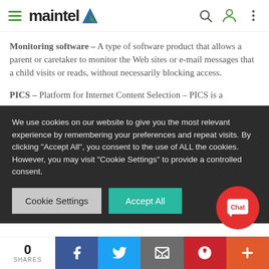maintel
Monitoring software – A type of software product that allows a parent or caretaker to monitor the Web sites or e-mail messages that a child visits or reads, without necessarily blocking access.
PICS – Platform for Internet Content Selection – PICS is a
We use cookies on our website to give you the most relevant experience by remembering your preferences and repeat visits. By clicking "Accept All", you consent to the use of ALL the cookies. However, you may visit "Cookie Settings" to provide a controlled consent.
Cookie Settings | Accept All
0 SHARES